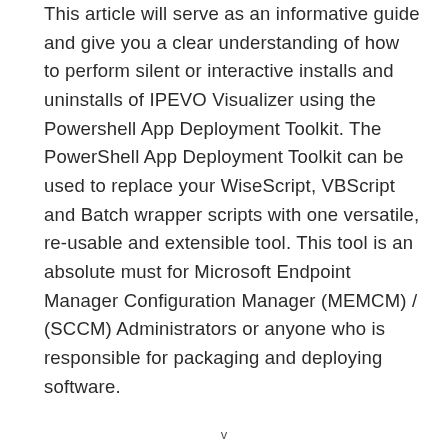This article will serve as an informative guide and give you a clear understanding of how to perform silent or interactive installs and uninstalls of IPEVO Visualizer using the Powershell App Deployment Toolkit. The PowerShell App Deployment Toolkit can be used to replace your WiseScript, VBScript and Batch wrapper scripts with one versatile, re-usable and extensible tool. This tool is an absolute must for Microsoft Endpoint Manager Configuration Manager (MEMCM) / (SCCM) Administrators or anyone who is responsible for packaging and deploying software.
v